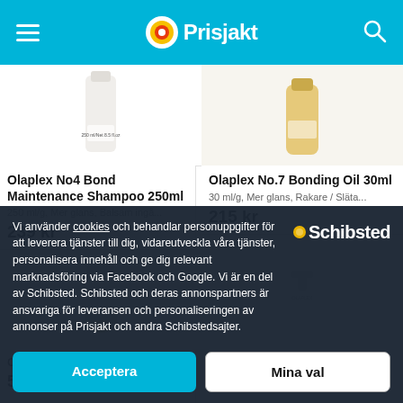Prisjakt
[Figure (photo): Olaplex No4 Bond Maintenance Shampoo 250ml product image]
Olaplex No4 Bond Maintenance Shampoo 250ml
250 ml/g, Mer glans, Balsam ingå...
239 kr
[Figure (photo): Olaplex No.7 Bonding Oil 30ml product image]
Olaplex No.7 Bonding Oil 30ml
30 ml/g, Mer glans, Rakare / Släta...
215 kr
[Figure (photo): Olaplex product bottom left partial]
Olaplex ... Treatment 250ml
5...
[Figure (photo): Olaplex Moisture Mask 100ml product image partial]
Olaplex ... Moisture Mask 100ml
100ml/g, Mer glans, Rakare / Slä...
223 kr
Vi använder cookies och behandlar personuppgifter för att leverera tjänster till dig, vidareutveckla våra tjänster, personalisera innehåll och ge dig relevant marknadsföring via Facebook och Google. Vi är en del av Schibsted. Schibsted och deras annonspartners är ansvariga för leveransen och personaliseringen av annonser på Prisjakt och andra Schibstedsajter.
Acceptera
Mina val